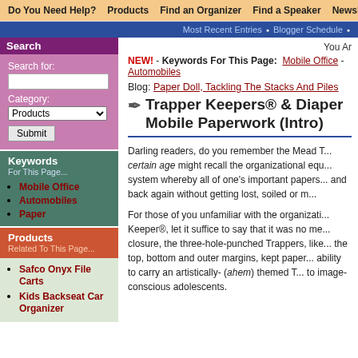Do You Need Help?  Products  Find an Organizer  Find a Speaker  Newsletters
Most Recent Entries  •  Blogger Schedule
Search
Search for:
Category: Products
Keywords For This Page...
Mobile Office
Automobiles
Paper
Products Related To This Page...
Safco Onyx File Carts
Kids Backseat Car Organizer
You Ar
NEW! - Keywords For This Page:  Mobile Office - Automobiles
Blog: Paper Doll, Tackling The Stacks And Piles
Trapper Keepers® & Diaper Mobile Paperwork (Intro)
Darling readers, do you remember the Mead T... certain age might recall the organizational equ... system whereby all of one's important papers... and back again without getting lost, soiled or m...
For those of you unfamiliar with the organizati... Keeper®, let it suffice to say that it was no me... closure, the three-hole-punched Trappers, like... the top, bottom and outer margins, kept paper... ability to carry an artistically- (ahem) themed T... to image-conscious adolescents.